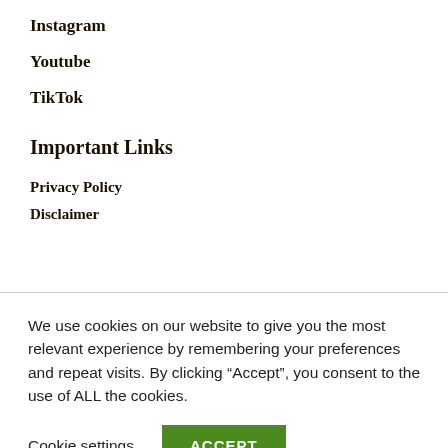Instagram
Youtube
TikTok
Important Links
Privacy Policy
Disclaimer
We use cookies on our website to give you the most relevant experience by remembering your preferences and repeat visits. By clicking “Accept”, you consent to the use of ALL the cookies.
Cookie settings
ACCEPT